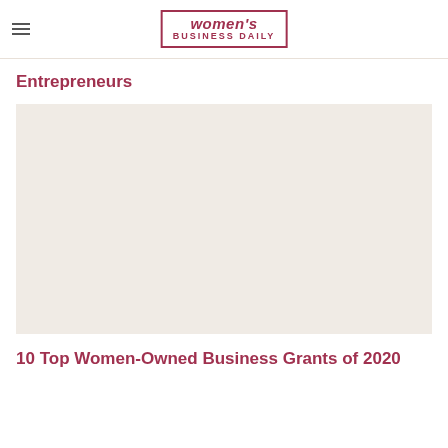women's BUSINESS DAILY
Entrepreneurs
[Figure (photo): Large image placeholder for article about women-owned business grants]
10 Top Women-Owned Business Grants of 2020